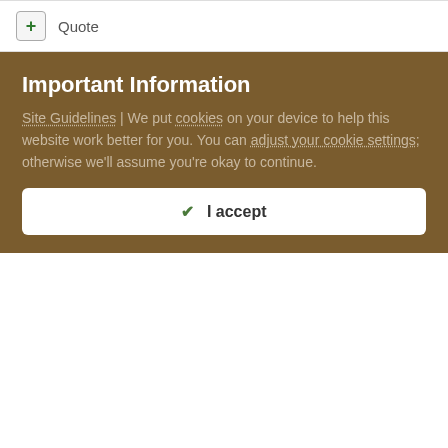+ Quote
bradl
Posted November 5, 2007
Tail length can be deceiving. Ideally, a line or ruler connecting the tip of the ears to the tip of the tail would be level.
Um, just in case the underlying question is, Are Cairn tails docked?
Important Information
Site Guidelines | We put cookies on your device to help this website work better for you. You can adjust your cookie settings; otherwise we'll assume you're okay to continue.
✔ I accept